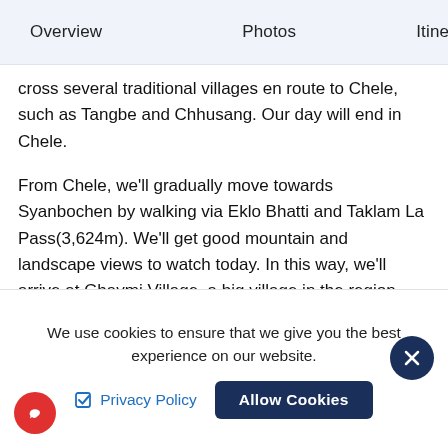Overview   Photos   Itine
cross several traditional villages en route to Chele, such as Tangbe and Chhusang. Our day will end in Chele.
From Chele, we'll gradually move towards Syanbochen by walking via Eklo Bhatti and Taklam La Pass(3,624m). We'll get good mountain and landscape views to watch today. In this way, we'll arrive at Ghaymi Village, a big village in the region. After Ghaymi, we'll hike towards Charang by passing various villages, maize fields, stone walls, etc.
We use cookies to ensure that we give you the best experience on our website.
Privacy Policy   Allow Cookies